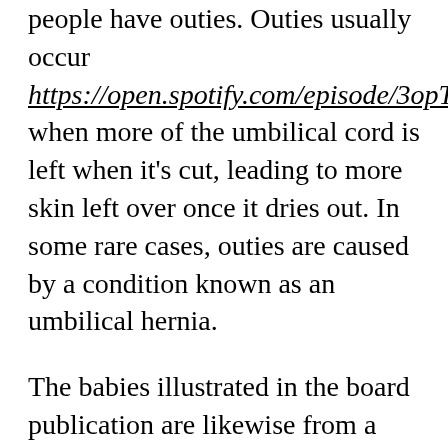people have outies. Outies usually occur https://open.spotify.com/episode/3opTgwunoS6 when more of the umbilical cord is left when it's cut, leading to more skin left over once it dries out. In some rare cases, outies are caused by a condition known as an umbilical hernia.
The babies illustrated in the board publication are likewise from a range of ethnic histories, making it comprehensive for all readers. This lift-the-flap board publication welcomes going visitors to play a game of peekaboo naming numerous body parts.